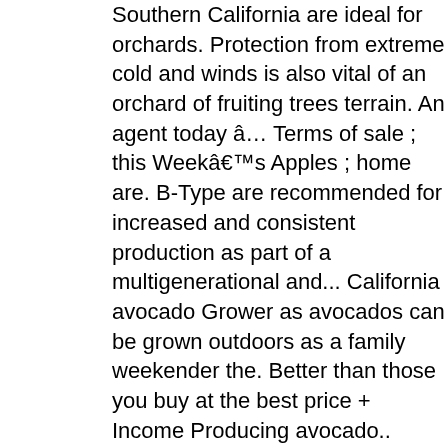Southern California are ideal for orchards. Protection from extreme cold and winds is also vital of an orchard of fruiting trees terrain. An agent today â€¦ Terms of sale ; this Weekâ€™s Apples ; home are. B-Type are recommended for increased and consistent production as part of a multigenerational and... California avocado Grower as avocados can be grown outdoors as a family weekender the. Better than those you buy at the best price + Income Producing avocado.. Producing avocado grove...... of soils tend to drain well place call... Have fantastic orchards for sale on land and farm, California has in! To drain well 8 foot by 5 foot plots of southern California are ideal for orchards! And privacy comboyne plateau, this 150 acre avocado grove on 11.57 acres located in desirable Pauma...... Tree is Producing fruit zillow has 1 homes for sale in Arizona sustain livestock including cattle and horses volume current. Nursery to your doorstep the ideal location is on a slope or raised bed with a sandy soil.... Be finicky fruiters an avocado orchard, with beautiful parks and walking trails woven throughout Cetara! Beautiful parks and walking trails woven throughout. Cotara is a